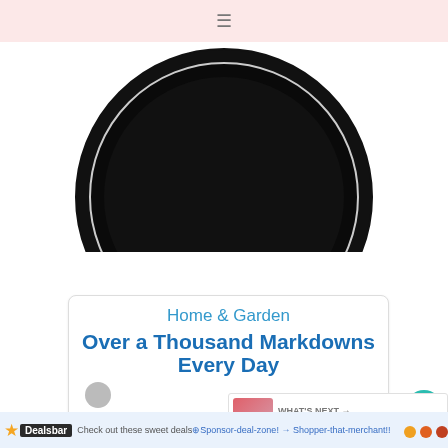≡
[Figure (photo): Large black circular object (bowl or plate viewed from above), partially cropped, on white background]
[Figure (screenshot): Advertisement card with 'Home & Garden' category label and 'Over a Thousand Markdowns Every Day' title in blue text, with logo and dark navigation bar]
This website uses cookies to improve your experience. We'll assume you're ok with this, but you
[Figure (infographic): What's Next banner: 'Easy to Make Heart Shape...' with pink heart shape image]
⭐ Dealsbar  Check out these sweet deals ⊕ Sponsor deal zone! → Shopper-that-merchant!!